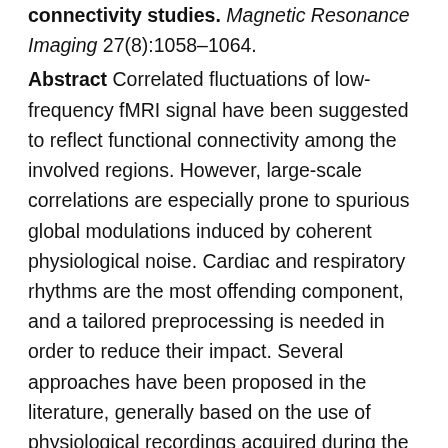connectivity studies. Magnetic Resonance Imaging 27(8):1058–1064.
Abstract Correlated fluctuations of low-frequency fMRI signal have been suggested to reflect functional connectivity among the involved regions. However, large-scale correlations are especially prone to spurious global modulations induced by coherent physiological noise. Cardiac and respiratory rhythms are the most offending component, and a tailored preprocessing is needed in order to reduce their impact. Several approaches have been proposed in the literature, generally based on the use of physiological recordings acquired during the functional scans, or on the extraction of the relevant information directly from the images; this paper, the performance of the